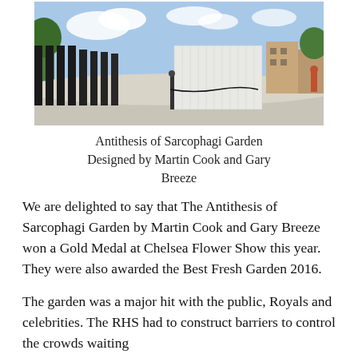[Figure (photo): Outdoor photograph of the Antithesis of Sarcophagi Garden showing dark wooden fencing on the left, a white cube-shaped structure in the center-right, blue sky with clouds, trees, and a street scene in the background.]
Antithesis of Sarcophagi Garden Designed by Martin Cook and Gary Breeze
We are delighted to say that The Antithesis of Sarcophagi Garden by Martin Cook and Gary Breeze won a Gold Medal at Chelsea Flower Show this year.  They were also awarded the Best Fresh Garden 2016.
The garden was a major hit with the public, Royals and celebrities.  The RHS had to construct barriers to control the crowds waiting to experience the genius of the hidden…